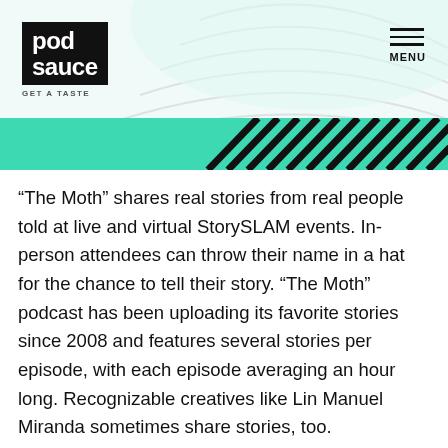[Figure (logo): Pod Sauce logo — black rectangle with white text reading 'pod sauce' in bold lowercase, tagline 'GET A TASTE' below in small gray caps]
MENU
[Figure (illustration): Teal/mint green banner with diagonal black stripes pattern on the right side, decorative curved gray lines in the header background]
“The Moth” shares real stories from real people told at live and virtual StorySLAM events. In-person attendees can throw their name in a hat for the chance to tell their story. “The Moth” podcast has been uploading its favorite stories since 2008 and features several stories per episode, with each episode averaging an hour long. Recognizable creatives like Lin Manuel Miranda sometimes share stories, too.